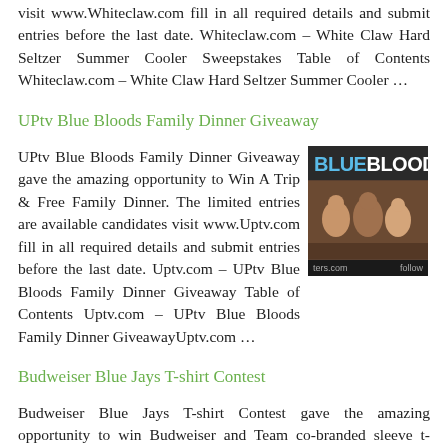visit www.Whiteclaw.com fill in all required details and submit entries before the last date. Whiteclaw.com – White Claw Hard Seltzer Summer Cooler Sweepstakes Table of Contents Whiteclaw.com – White Claw Hard Seltzer Summer Cooler …
UPtv Blue Bloods Family Dinner Giveaway
UPtv Blue Bloods Family Dinner Giveaway gave the amazing opportunity to Win A Trip & Free Family Dinner. The limited entries are available candidates visit www.Uptv.com fill in all required details and submit entries before the last date. Uptv.com – UPtv Blue Bloods Family Dinner Giveaway Table of Contents Uptv.com – UPtv Blue Bloods Family Dinner GiveawayUptv.com …
[Figure (photo): Blue Bloods TV show promotional image with people at a dinner table and BLUE BLOOD text overlay]
Budweiser Blue Jays T-shirt Contest
Budweiser Blue Jays T-shirt Contest gave the amazing opportunity to win Budweiser and Team co-branded sleeve t-shirts. The limited entries are available…